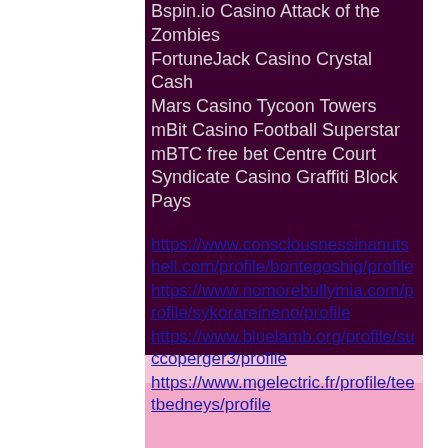Bspin.io Casino Attack of the Zombies
FortuneJack Casino Crystal Cash
Mars Casino Tycoon Towers
mBit Casino Football Superstar
mBTC free bet Centre Court
Syndicate Casino Graffiti Block Pays
https://www.consciousnessinanutshell.com/profile/bontegoshig/profile
https://www.nomorebullymia.com/profile/sykorareineno/profile
https://www.bluelamb.org/profile/succoperger3/profile
https://www.mgelectric.fr/profile/teetbedneys/profile